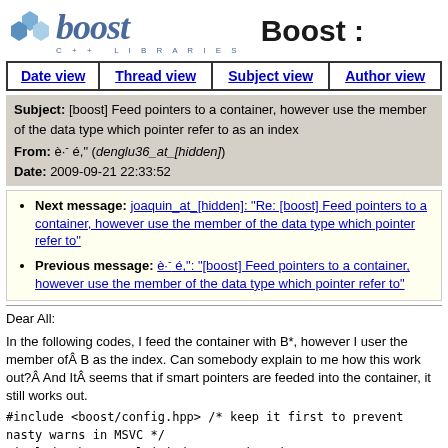[Figure (logo): Boost C++ Libraries logo with hexagon icon and italic 'boost' text, plus 'Boost :' heading]
| Date view | Thread view | Subject view | Author view |
| --- | --- | --- | --- |
Subject: [boost] Feed pointers to a container, however use the member of the data type which pointer refer to as an index
From: è·¯ é," (denglu36_at_[hidden])
Date: 2009-09-21 22:33:52
Next message: joaquin_at_[hidden]: "Re: [boost] Feed pointers to a container, however use the member of the data type which pointer refer to"
Previous message: è·¯ é,": "[boost] Feed pointers to a container, however use the member of the data type which pointer refer to"
Dear All:
In the following codes, I feed the container with B*, however I user the member ofÂ B as the index. Can somebody explain to me how this work out?Â And ItÂ seems that if smart pointers are feeded into the container, it still works out.
#include <boost/config.hpp> /* keep it first to prevent nasty warns in MSVC */
#include <boost/multi_index_container.hpp>
#include <boost/multi_index/ordered_index.hpp>
#include <boost/multi_index/member.hpp>